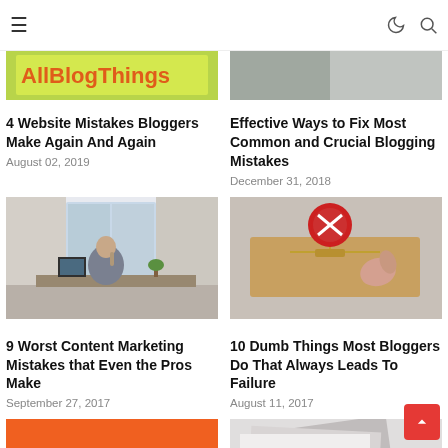AllBlogThings
[Figure (photo): Partial top image of AllBlogThings logo on yellow background (top row, left)]
4 Website Mistakes Bloggers Make Again And Again
August 02, 2019
[Figure (photo): Partial top image showing hands (top row, right)]
Effective Ways to Fix Most Common and Crucial Blogging Mistakes
December 31, 2018
[Figure (photo): Man sitting at desk talking on phone in an office with large windows]
9 Worst Content Marketing Mistakes that Even the Pros Make
September 27, 2017
[Figure (photo): A mousetrap with a thumb/finger caught, red warning symbol on top]
10 Dumb Things Most Bloggers Do That Always Leads To Failure
August 11, 2017
[Figure (photo): Partial bottom image with orange background and yellow text 'ontent Writing Mist']
[Figure (photo): Partial bottom image with text 'Unknown Blogging Mistake']